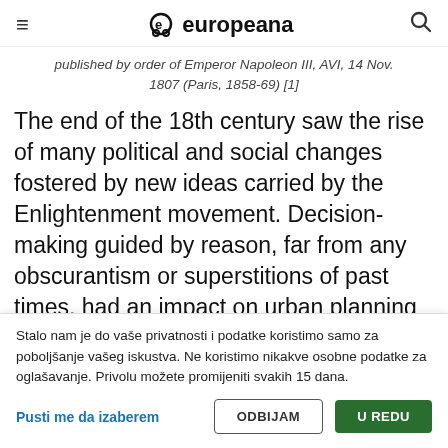≡  europeana  🔍
published by order of Emperor Napoleon III, AVI, 14 Nov. 1807 (Paris, 1858-69) [1]
The end of the 18th century saw the rise of many political and social changes fostered by new ideas carried by the Enlightenment movement. Decision-making guided by reason, far from any obscurantism or superstitions of past times, had an impact on urban planning and its aesthetics as well. The city became a place of life
Stalo nam je do vaše privatnosti i podatke koristimo samo za poboljšanje vašeg iskustva. Ne koristimo nikakve osobne podatke za oglašavanje. Privolu možete promijeniti svakih 15 dana.
Pusti me da izaberem | ODBIJAM | U REDU